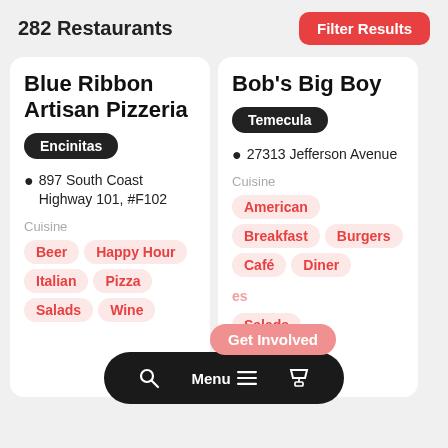282 Restaurants
Filter Results
Blue Ribbon Artisan Pizzeria
Encinitas
897 South Coast Highway 101, #F102
Cuisine
Beer
Happy Hour
Italian
Pizza
Salads
Wine
Bob's Big Boy
Temecula
27313 Jefferson Avenue
Cuisine
American
Breakfast
Burgers
Café
Diner
Salads
Get Involved
Menu